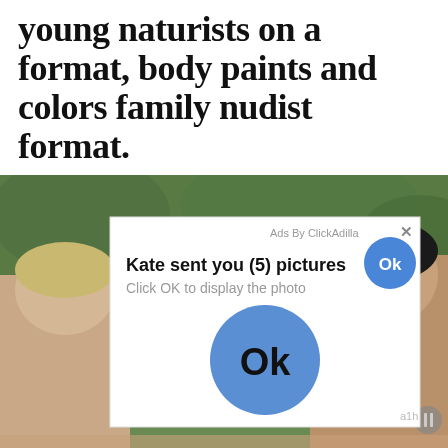young naturists on a format, body paints and colors family nudist format.
[Figure (photo): Photograph of two people outdoors with green foliage background, overlaid by a pop-up advertisement dialog box. The dialog reads: 'Ads By ClickAdilla X' at top right, 'Kate sent you (5) pictures' with a small blue Ok button, 'Click OK to display the photo', and a large blue Ok button circle. Footer shows 'a1h'.]